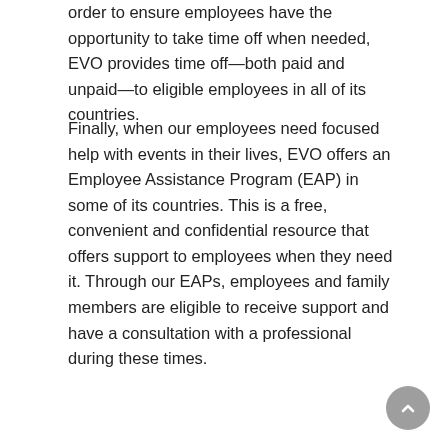order to ensure employees have the opportunity to take time off when needed, EVO provides time off—both paid and unpaid—to eligible employees in all of its countries.
Finally, when our employees need focused help with events in their lives, EVO offers an Employee Assistance Program (EAP) in some of its countries. This is a free, convenient and confidential resource that offers support to employees when they need it. Through our EAPs, employees and family members are eligible to receive support and have a consultation with a professional during these times.